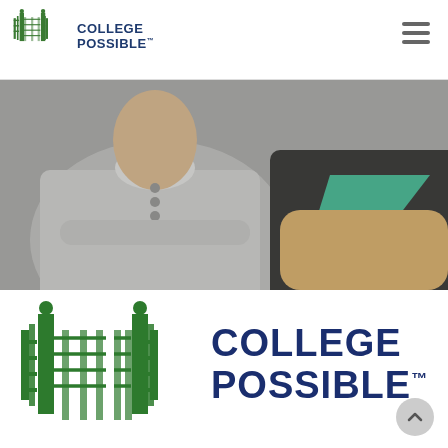College Possible
[Figure (photo): Two students sitting side by side, one in a gray button shirt with crossed arms, the other in a black and green t-shirt, photographed from the shoulders up in a classroom setting.]
[Figure (logo): College Possible logo — large green gate icon on the left and bold dark navy text reading COLLEGE POSSIBLE with TM mark on the right.]